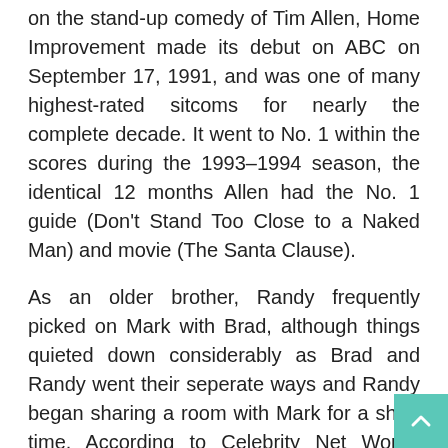on the stand-up comedy of Tim Allen, Home Improvement made its debut on ABC on September 17, 1991, and was one of many highest-rated sitcoms for nearly the complete decade. It went to No. 1 within the scores during the 1993–1994 season, the identical 12 months Allen had the No. 1 guide (Don't Stand Too Close to a Naked Man) and movie (The Santa Clause).
As an older brother, Randy frequently picked on Mark with Brad, although things quieted down considerably as Brad and Randy went their seperate ways and Randy began sharing a room with Mark for a short time. According to Celebrity Net Worth, Allen's internet worth is a whopping $80 million.
An avid fan of the Detroit skilled sports teams, Tim wears Lions, Pistons, Red Wings, and Tigers clothes in numerous situations, and many plots revolve across the teams. He is a former salesman for the fictional Binford Tool firm, and could be very a lot a cocky, overambitious, accident-